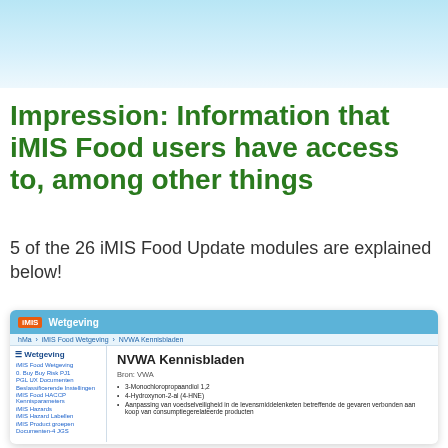Impression: Information that iMIS Food users have access to, among other things
5 of the 26 iMIS Food Update modules are explained below!
[Figure (screenshot): Screenshot of the iMIS Food web application showing the Wetgeving (Legislation) module with NVWA Kennisbladen page open. Left sidebar shows navigation including iMIS Food Wetgeving and sub-items. Main content area shows NVWA Kennisbladen section with source VWA and a bullet list of items including 3-Monochloropropaandiol 1,2, 4-Hydroxynon-2-al (4-HNE), and Aanpassing van voedselveiligheid in de levensmiddelenketen betreffende de gevaren verbonden aan koop van consumptiegerelateerde producten.]